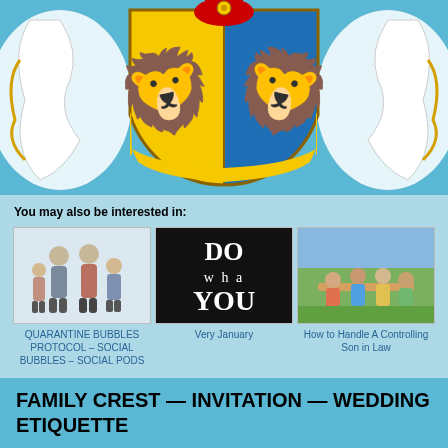[Figure (illustration): Family coat of arms / heraldic crest with blue and yellow shield divided diagonally, featuring rampant lions in contrasting colors, ornate scrollwork flanking the shield, and a red element at top center.]
You may also be interested in:
[Figure (photo): A family of four standing together on a white background — two adults and two children.]
QUARANTINE BUBBLES PROTOCOL – SOCIAL BUBBLES – SOCIAL PODS
[Figure (photo): Dark typographic image with stylized text reading 'DO wha YOU']
Very January
[Figure (photo): Group of people gathered around an outdoor dining table in bright sunlight.]
How to Handle A Controlling Son in Law
FAMILY CREST — INVITATION — WEDDING ETIQUETTE